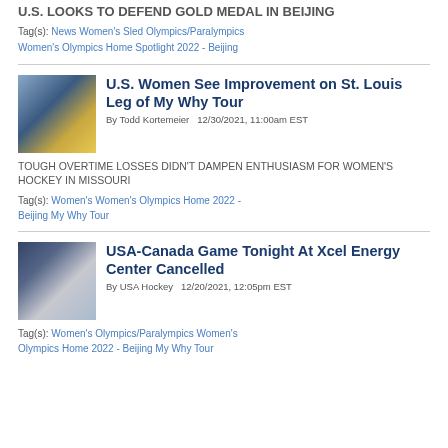U.S. LOOKS TO DEFEND GOLD MEDAL IN BEIJING
Tag(s): News Women's Sled Olympics/Paralympics Women's Olympics Home Spotlight 2022 - Beijing
U.S. Women See Improvement on St. Louis Leg of My Why Tour
By Todd Kortemeier  12/30/2021, 11:00am EST
TOUGH OVERTIME LOSSES DIDN'T DAMPEN ENTHUSIASM FOR WOMEN'S HOCKEY IN MISSOURI
Tag(s): Women's Women's Olympics Home 2022 - Beijing My Why Tour
USA-Canada Game Tonight At Xcel Energy Center Cancelled
By USA Hockey  12/20/2021, 12:05pm EST
Tag(s): Women's Olympics/Paralympics Women's Olympics Home 2022 - Beijing My Why Tour